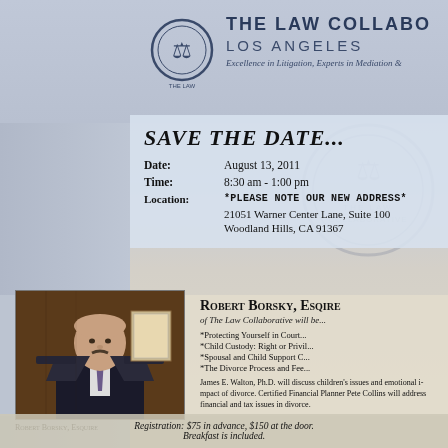THE LAW COLLABORATIVE LOS ANGELES — Excellence in Litigation, Experts in Mediation &
SAVE THE DATE...
Date: August 13, 2011
Time: 8:30 am - 1:00 pm
Location: *PLEASE NOTE OUR NEW ADDRESS* 21051 Warner Center Lane, Suite 100 Woodland Hills, CA 91367
[Figure (photo): Portrait photo of Robert Borsky, Esquire, a man in a dark suit with tie, seated in an office with wood paneling and framed certificate in background]
Robert Borsky, Esquire
Robert Borsky, Esq. of The Law Collaborative will be...
*Protecting Yourself in Court
*Child Custody: Right or Privil...
*Spousal and Child Support C...
*The Divorce Process and Fee...
James E. Walton, Ph.D. will discuss children's issues and emotional impact of divorce. Certified Financial Planner Pete Collins will address financial and tax issues in divorce.
Registration: $75 in advance, $150 at the door. Breakfast is included.